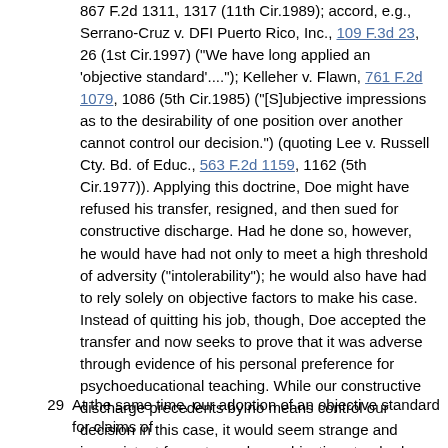867 F.2d 1311, 1317 (11th Cir.1989); accord, e.g., Serrano-Cruz v. DFI Puerto Rico, Inc., 109 F.3d 23, 26 (1st Cir.1997) ("We have long applied an 'objective standard'...."); Kelleher v. Flawn, 761 F.2d 1079, 1086 (5th Cir.1985) ("[S]ubjective impressions as to the desirability of one position over another cannot control our decision.") (quoting Lee v. Russell Cty. Bd. of Educ., 563 F.2d 1159, 1162 (5th Cir.1977)). Applying this doctrine, Doe might have refused his transfer, resigned, and then sued for constructive discharge. Had he done so, however, he would have had not only to meet a high threshold of adversity ("intolerability"); he would also have had to rely solely on objective factors to make his case. Instead of quitting his job, though, Doe accepted the transfer and now seeks to prove that it was adverse through evidence of his personal preference for psychoeducational teaching. While our constructive discharge precedents by no means control our decision in this case, it would seem strange and inconsistent for us to apply an objective standard where a plaintiff rejects a transfer, resigns, and sues, but to apply a subjective standard where a plaintiff accepts a transfer and sues. Absent some justification for such a dichotomy, we decline to introduce such a confusing inconsistency into the law.
29  At the same time, our adoption of an objective standard for claims of...